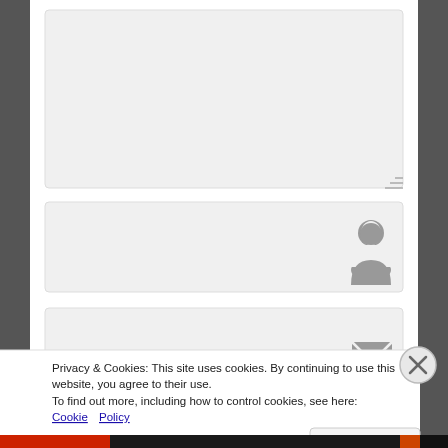[Figure (screenshot): Web form with textarea, name field, email field, and website/URL field, each with a grey background and an icon on the right side. A cookie consent banner overlays the bottom portion with a close (X) button, displaying privacy notice text with a Cookie Policy link and a Close and accept button.]
Privacy & Cookies: This site uses cookies. By continuing to use this website, you agree to their use.
To find out more, including how to control cookies, see here: Cookie Policy
Close and accept